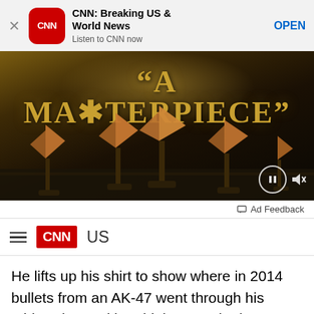[Figure (screenshot): App store banner for CNN: Breaking US & World News app with close button, CNN icon, title, subtitle 'Listen to CNN now', and OPEN button]
[Figure (screenshot): Video advertisement showing 'A MASTERPIECE' text over fantasy sailing ships scene with pause and mute controls]
Ad Feedback
[Figure (screenshot): CNN navigation bar with hamburger menu, CNN logo, and US section label]
He lifts up his shirt to show where in 2014 bullets from an AK-47 went through his midsection and brachial artery, the latter requiring a vein from his leg to repair. He's alive because he was so high on Xanax and hydrocodone it limited his blood loss to 4 pints